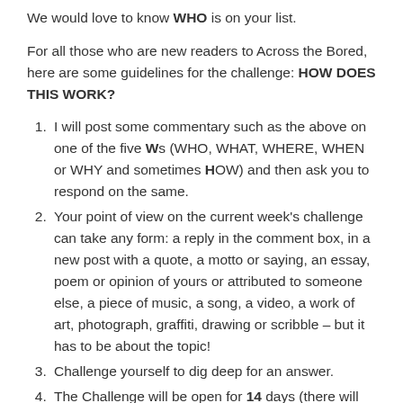We would love to know WHO is on your list.
For all those who are new readers to Across the Bored, here are some guidelines for the challenge: HOW DOES THIS WORK?
I will post some commentary such as the above on one of the five Ws (WHO, WHAT, WHERE, WHEN or WHY and sometimes HOW) and then ask you to respond on the same.
Your point of view on the current week's challenge can take any form: a reply in the comment box, in a new post with a quote, a motto or saying, an essay, poem or opinion of yours or attributed to someone else, a piece of music, a song, a video, a work of art, photograph, graffiti, drawing or scribble – but it has to be about the topic!
Challenge yourself to dig deep for an answer.
The Challenge will be open for 14 days (there will be a